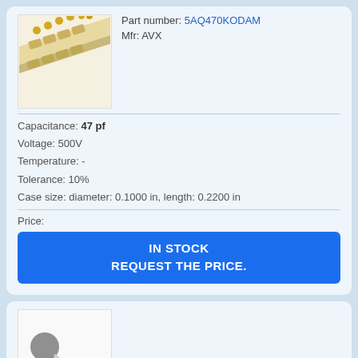[Figure (photo): Photo of SMD capacitors on a tape reel strip, beige/cream colored with gold contacts on a pale background.]
Part number: 5AQ470KODAM
Mfr: AVX
Capacitance: 47 pf
Voltage: 500V
Temperature: -
Tolerance: 10%
Case size: diameter: 0.1000 in, length: 0.2200 in
Price:
IN STOCK
REQUEST THE PRICE.
[Figure (photo): Photo of a small disc capacitor component with two wire leads on a white background.]